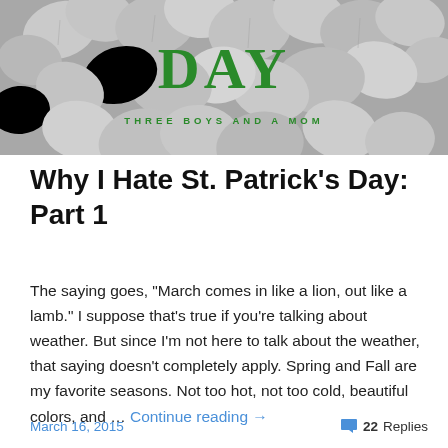[Figure (photo): Blog header image showing grayscale eucalyptus or clover leaves with green text overlay reading 'DAY' and tagline 'THREE BOYS AND A MOM']
Why I Hate St. Patrick's Day: Part 1
The saying goes, "March comes in like a lion, out like a lamb." I suppose that's true if you're talking about weather. But since I'm not here to talk about the weather, that saying doesn't completely apply. Spring and Fall are my favorite seasons. Not too hot, not too cold, beautiful colors, and … Continue reading →
March 16, 2015    💬 22 Replies